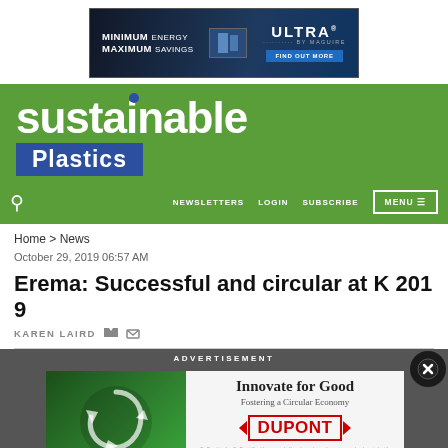[Figure (other): Advertisement banner: MINIMUM ENERGY MAXIMUM SAVINGS — ULTRA BY MAGUIRE — FIND OUT MORE]
[Figure (logo): Sustainable Plastics website logo — white text on green background with blue Plastics bar]
NEWSLETTERS   LOGIN   SUBSCRIBE   MENU
Home > News
October 29, 2019 06:57 AM
Erema: Successful and circular at K 2019
KAREN LAIRD
[Figure (other): Advertisement overlay: ADVERTISEMENT banner over DuPont ad — Innovate for Good, Fostering a Circular Economy, DuPont logo, Learn more button. Close button (X) in top right.]